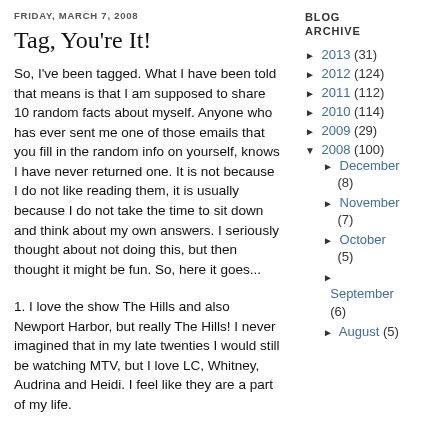FRIDAY, MARCH 7, 2008
Tag, You're It!
So, I've been tagged. What I have been told that means is that I am supposed to share 10 random facts about myself. Anyone who has ever sent me one of those emails that you fill in the random info on yourself, knows I have never returned one. It is not because I do not like reading them, it is usually because I do not take the time to sit down and think about my own answers. I seriously thought about not doing this, but then thought it might be fun. So, here it goes...
1. I love the show The Hills and also Newport Harbor, but really The Hills! I never imagined that in my late twenties I would still be watching MTV, but I love LC, Whitney, Audrina and Heidi. I feel like they are a part of my life.
BLOG ARCHIVE
► 2013 (31)
► 2012 (124)
► 2011 (112)
► 2010 (114)
► 2009 (29)
▼ 2008 (100)
► December (8)
► November (7)
► October (5)
► September (6)
► August (5)